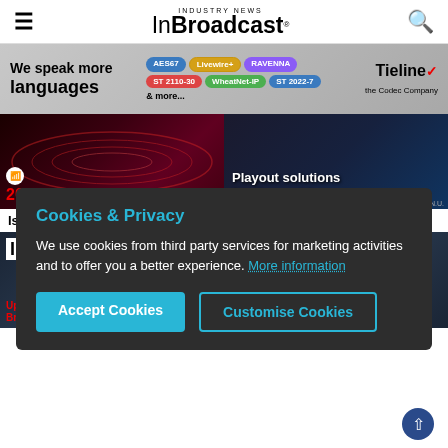InBroadcast - Industry News
[Figure (photo): Tieline ad banner: We speak more languages - AES67, Livewire+, RAVENNA, ST 2110-30, WheatNet-IP, ST 2022-7 & more...]
[Figure (photo): 2022 Preview - red wave lines on dark background]
[Figure (photo): Playout solutions for the world - broadcast control room]
Issue
[Figure (photo): InBroadcast magazine cover - left]
[Figure (photo): InBroadcast magazine cover - right]
Cookies & Privacy - We use cookies from third party services for marketing activities and to offer you a better experience. More information. Accept Cookies. Customise Cookies.
[Figure (photo): Upgrading the Broadcast industry - left]
[Figure (photo): Upgrading the Broadcast industry - right]